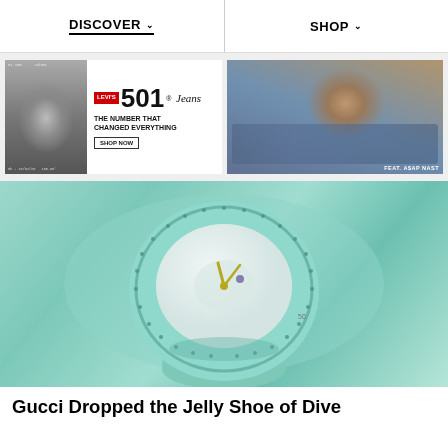DISCOVER  SHOP
[Figure (photo): Levi's 501 Jeans advertisement with black-and-white photo of person on left, Levi's 501 Jeans logo and tagline 'THE NUMBER THAT CHANGED EVERYTHING' with SHOP NOW button]
[Figure (photo): Fashion photo of person (FEAT. ASAP NAST) lying down wearing jeans and red jacket]
[Figure (photo): Close-up product photo of a Gucci mint/teal green jelly rubber watch with crystal bezel on matching green background]
Gucci Dropped the Jelly Shoe of Dive